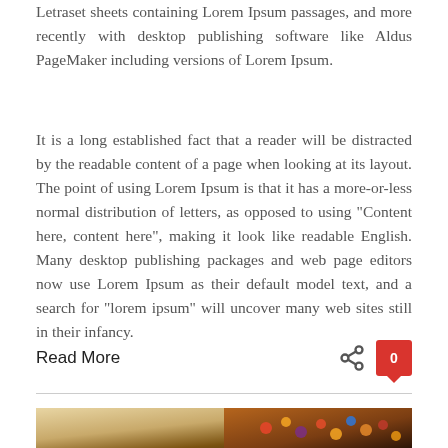Letraset sheets containing Lorem Ipsum passages, and more recently with desktop publishing software like Aldus PageMaker including versions of Lorem Ipsum.
It is a long established fact that a reader will be distracted by the readable content of a page when looking at its layout. The point of using Lorem Ipsum is that it has a more-or-less normal distribution of letters, as opposed to using "Content here, content here", making it look like readable English. Many desktop publishing packages and web page editors now use Lorem Ipsum as their default model text, and a search for "lorem ipsum" will uncover many web sites still in their infancy.
Read More
[Figure (photo): A tin box containing colorful candies or small food items, photographed from above at an angle.]